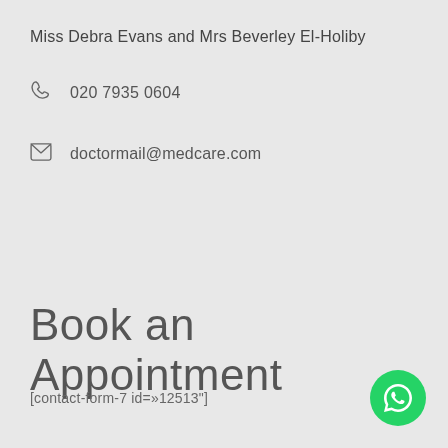Miss Debra Evans and Mrs Beverley El-Holiby
020 7935 0604
doctormail@medcare.com
Book an Appointment
[contact-form-7 id=»12513"]
[Figure (logo): WhatsApp floating button icon (green circle with white WhatsApp logo)]